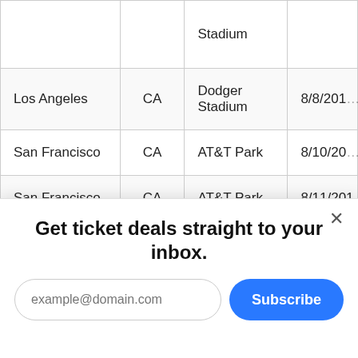| City | State | Venue | Date |
| --- | --- | --- | --- |
|  |  | Stadium |  |
| Los Angeles | CA | Dodger Stadium | 8/8/201… |
| San Francisco | CA | AT&T Park | 8/10/201… |
| San Francisco | CA | AT&T Park | 8/11/201… |
Get ticket deals straight to your inbox.